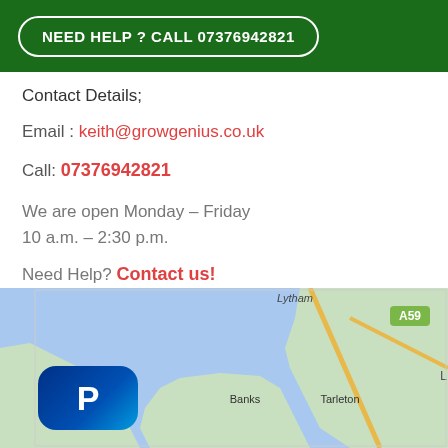NEED HELP ? CALL 07376942821
Contact Details;
Email : keith@growgenius.co.uk
Call: 07376942821
We are open Monday – Friday
10 a.m. – 2:30 p.m.
Need Help? Contact us!
[Figure (map): Google Maps screenshot showing Ribble and Alt Estuaries area with Banks, Tarleton, Lytham labels and A59 road marker. PayPal logo visible in lower left.]